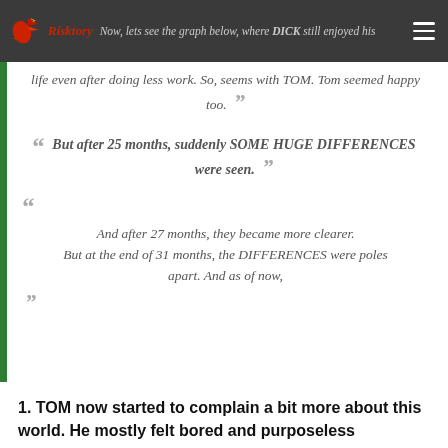changes. Now, lets see the graph below, where DICK still enjoyed his life even after doing less work. So, seems with TOM. Tom seemed happy too.
But after 25 months, suddenly SOME HUGE DIFFERENCES were seen.
And after 27 months, they became more clearer. But at the end of 31 months, the DIFFERENCES were poles apart. And as of now,
1. TOM now started to complain a bit more about this world. He mostly felt bored and purposeless most of the time.